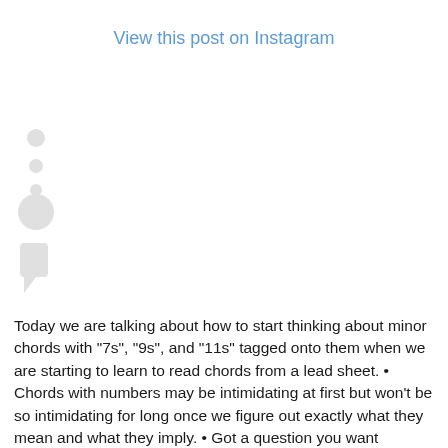View this post on Instagram
[Figure (illustration): Instagram social share icon/graphic — vertical arrangement of small circles and a chat bubble shape in light gray]
Today we are talking about how to start thinking about minor chords with "7s", "9s", and "11s" tagged onto them when we are starting to learn to read chords from a lead sheet. • Chords with numbers may be intimidating at first but won't be so intimidating for long once we figure out exactly what they mean and what they imply. • Got a question you want answers in a Tuesday Tip? Send us a question and we'll get in answers in a Tuesday Tip! 🎵